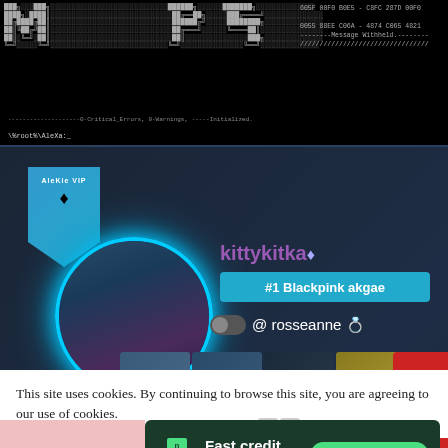[Figure (screenshot): Terminal/hacker-style ASCII art banner with hex codes on the right side, showing 'kittykitka' interface with 0-Critical_Errors, 0-Warnings, Initialized. and prompt \%root%\AleXa:_]
[Figure (screenshot): Social profile card with teal VIP badge, glowing circular avatar, username 'kittykitka' with diamond icon, '#1 Blackpink akgae' status bar, @rosseanne handle, photo grid of K-pop images, and red scroll buttons]
This site uses cookies. By continuing to browse this site, you are agreeing to our use of cookies.
[Figure (screenshot): Advertisement banner: Tally app - 'Fast credit card payoff' with 'Download Now' button]